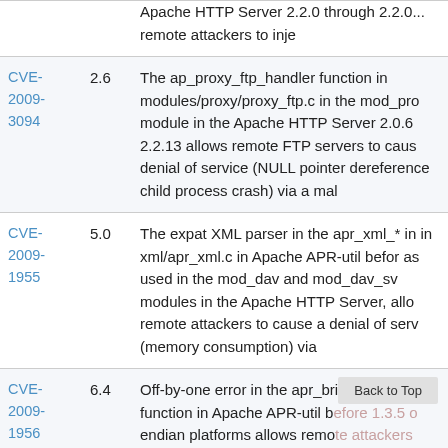| CVE | Score | Description |
| --- | --- | --- |
| CVE-2009-3094 | 2.6 | The ap_proxy_ftp_handler function in modules/proxy/proxy_ftp.c in the mod_pro module in the Apache HTTP Server 2.0.6 2.2.13 allows remote FTP servers to caus denial of service (NULL pointer dereference child process crash) via a mal |
| CVE-2009-1955 | 5.0 | The expat XML parser in the apr_xml_* in in xml/apr_xml.c in Apache APR-util befor as used in the mod_dav and mod_dav_sv modules in the Apache HTTP Server, allo remote attackers to cause a denial of serv (memory consumption) via |
| CVE-2009-1956 | 6.4 | Off-by-one error in the apr_brigade_vprin function in Apache APR-util before 1.3.5 o endian platforms allows remote attackers obtain sensitive information or cause a de |